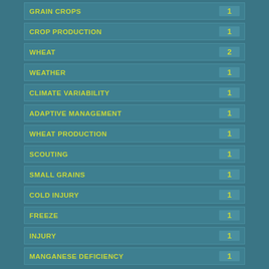GRAIN CROPS
CROP PRODUCTION
WHEAT
WEATHER
CLIMATE VARIABILITY
ADAPTIVE MANAGEMENT
WHEAT PRODUCTION
SCOUTING
SMALL GRAINS
COLD INJURY
FREEZE
INJURY
MANGANESE DEFICIENCY